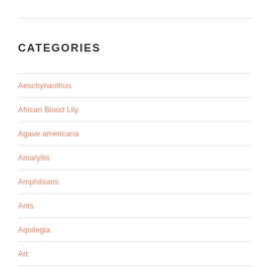CATEGORIES
Aeschynanthus
African Blood Lily
Agave americana
Amaryllis
Amphibians
Ants
Aquilegia
Art